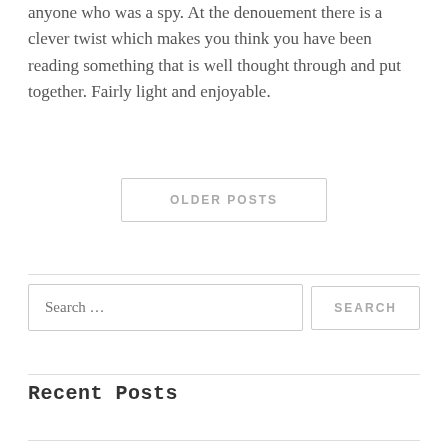anyone who was a spy. At the denouement there is a clever twist which makes you think you have been reading something that is well thought through and put together. Fairly light and enjoyable.
OLDER POSTS
Search …
SEARCH
Recent Posts